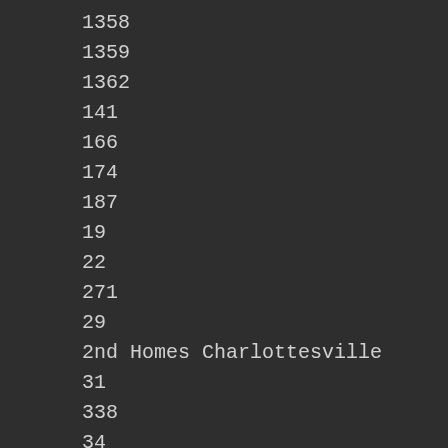1358
1359
1362
141
166
174
187
19
22
271
29
2nd Homes Charlottesville
31
338
34
340
341